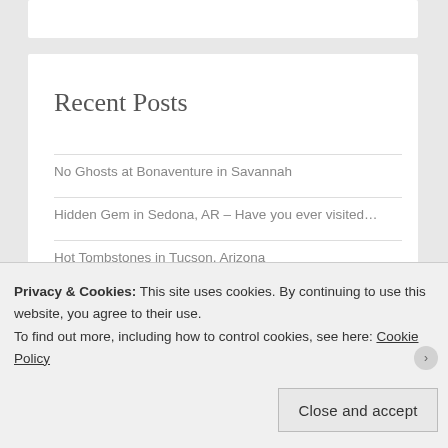Recent Posts
No Ghosts at Bonaventure in Savannah
Hidden Gem in Sedona, AR – Have you ever visited…
Hot Tombstones in Tucson, Arizona
My First Funeral
Privacy & Cookies: This site uses cookies. By continuing to use this website, you agree to their use.
To find out more, including how to control cookies, see here: Cookie Policy
Close and accept